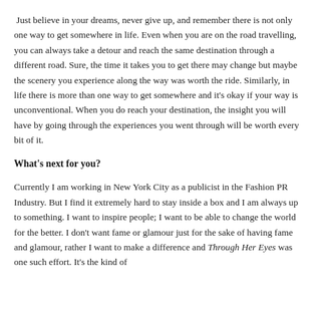Just believe in your dreams, never give up, and remember there is not only one way to get somewhere in life. Even when you are on the road travelling, you can always take a detour and reach the same destination through a different road. Sure, the time it takes you to get there may change but maybe the scenery you experience along the way was worth the ride. Similarly, in life there is more than one way to get somewhere and it's okay if your way is unconventional. When you do reach your destination, the insight you will have by going through the experiences you went through will be worth every bit of it.
What's next for you?
Currently I am working in New York City as a publicist in the Fashion PR Industry. But I find it extremely hard to stay inside a box and I am always up to something. I want to inspire people; I want to be able to change the world for the better. I don't want fame or glamour just for the sake of having fame and glamour, rather I want to make a difference and Through Her Eyes was one such effort. It's the kind of